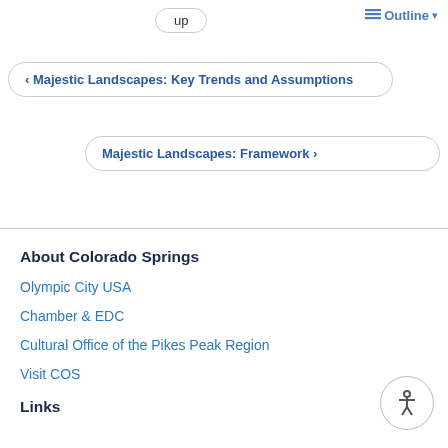up
Outline
‹ Majestic Landscapes: Key Trends and Assumptions
Majestic Landscapes: Framework ›
About Colorado Springs
Olympic City USA
Chamber & EDC
Cultural Office of the Pikes Peak Region
Visit COS
Links